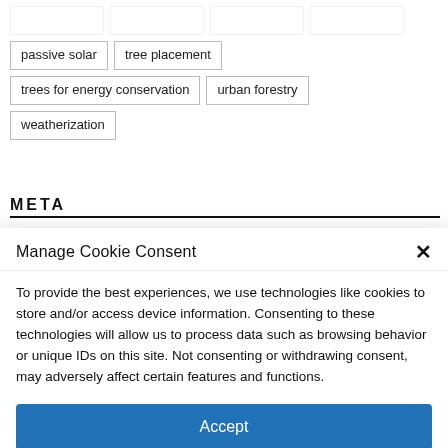passive solar
tree placement
trees for energy conservation
urban forestry
weatherization
META
Manage Cookie Consent
To provide the best experiences, we use technologies like cookies to store and/or access device information. Consenting to these technologies will allow us to process data such as browsing behavior or unique IDs on this site. Not consenting or withdrawing consent, may adversely affect certain features and functions.
Accept
Cookie Policy  Privacy Statement